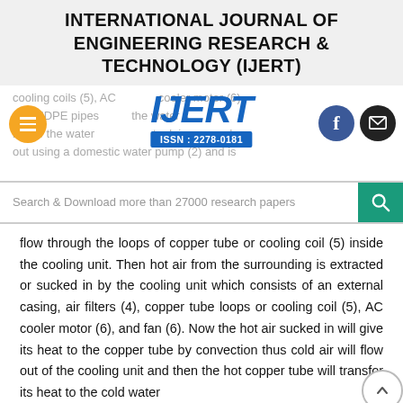INTERNATIONAL JOURNAL OF ENGINEERING RESEARCH & TECHNOLOGY (IJERT)
[Figure (logo): IJERT logo with ISSN: 2278-0181, navigation buttons (hamburger menu, Facebook, email), and partially visible body text behind the logo overlay]
Search & Download more than 27000 research papers
flow through the loops of copper tube or cooling coil (5) inside the cooling unit. Then hot air from the surrounding is extracted or sucked in by the cooling unit which consists of an external casing, air filters (4), copper tube loops or cooling coil (5), AC cooler motor (6), and fan (6). Now the hot air sucked in will give its heat to the copper tube by convection thus cold air will flow out of the cooling unit and then the hot copper tube will transfor its heat to the cold water